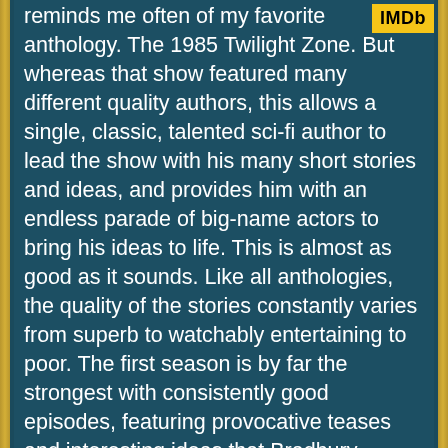[Figure (logo): IMDb logo badge — yellow rectangle with black bold text 'IMDb']
reminds me often of my favorite anthology. The 1985 Twilight Zone. But whereas that show featured many different quality authors, this allows a single, classic, talented sci-fi author to lead the show with his many short stories and ideas, and provides him with an endless parade of big-name actors to bring his ideas to life. This is almost as good as it sounds. Like all anthologies, the quality of the stories constantly varies from superb to watchably entertaining to poor. The first season is by far the strongest with consistently good episodes, featuring provocative teases and interesting ideas that Bradbury delivers in a focused, hit-and-run short format that never feels the need to explain everything, only to tickle us with an idea or thought. The first season is very short however, and the second season takes a dip in quality, giving an equal ratio to poor episodes. After that, a lot of the writing seems to settle on poetic and theatrical but too simple or sentimental short stories often